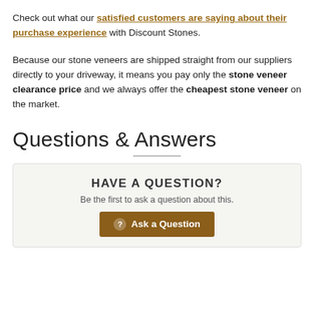Check out what our satisfied customers are saying about their purchase experience with Discount Stones.
Because our stone veneers are shipped straight from our suppliers directly to your driveway, it means you pay only the stone veneer clearance price and we always offer the cheapest stone veneer on the market.
Questions & Answers
HAVE A QUESTION?
Be the first to ask a question about this.
Ask a Question